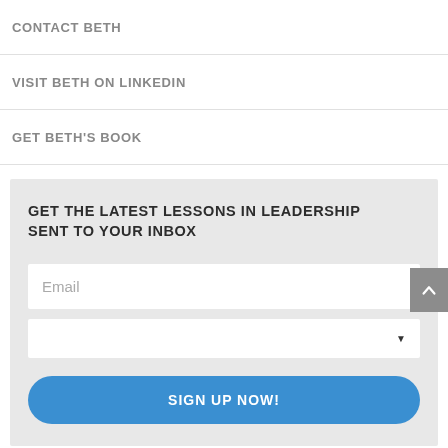CONTACT BETH
VISIT BETH ON LINKEDIN
GET BETH'S BOOK
GET THE LATEST LESSONS IN LEADERSHIP SENT TO YOUR INBOX
[Figure (screenshot): Email input field (text box)]
[Figure (screenshot): Dropdown selector]
[Figure (screenshot): Blue rounded Sign Up Now button]